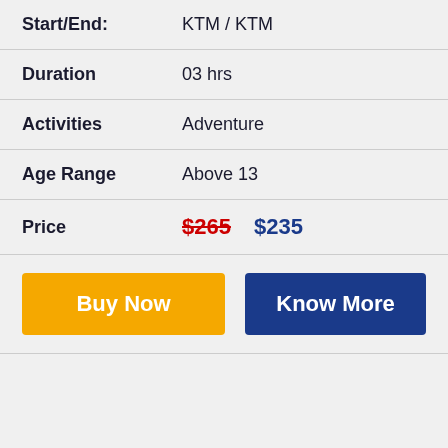| Start/End: | KTM / KTM |
| Duration | 03 hrs |
| Activities | Adventure |
| Age Range | Above 13 |
| Price | $265  $235 |
Buy Now
Know More